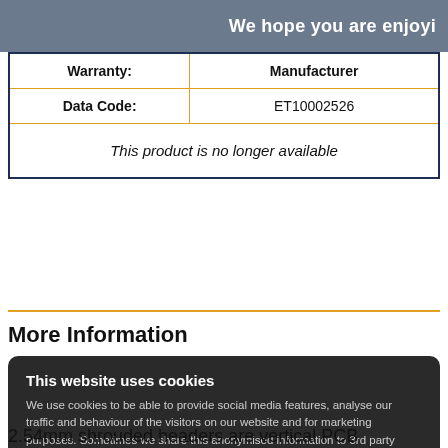We hope you are enjoyi
| Warranty: | Manufacturer |
| --- | --- |
| Data Code: | ET10002526 |
| This product is no longer available |
More Information
This website uses cookies
We use cookies to be able to provide social media features, analyse our traffic and behaviour of the visitors on our website and for marketing purposes. Sometimes we share this anonymised information to 3rd party partner companies. More information
2.54mm shrouded headers are vertical PCB